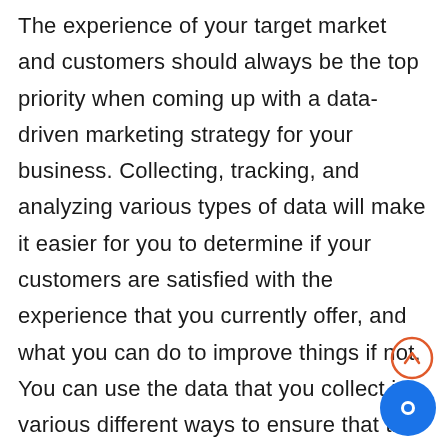The experience of your target market and customers should always be the top priority when coming up with a data-driven marketing strategy for your business. Collecting, tracking, and analyzing various types of data will make it easier for you to determine if your customers are satisfied with the experience that you currently offer, and what you can do to improve things if not. You can use the data that you collect in various different ways to ensure that the customer experience is the top priority, and as a result of doing this, companies often find that their marketing strategies are often more effective. The customer or client experience can be one of the best marketing strategies that you have access to, since customers are always more likely to return...